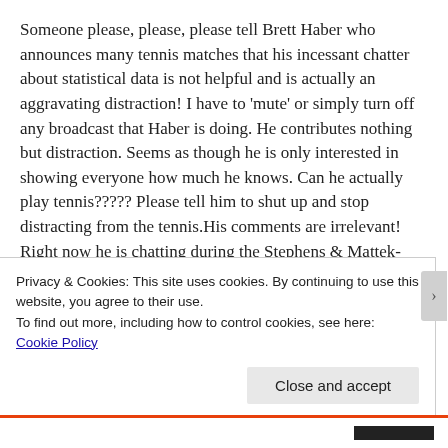Someone please, please, please tell Brett Haber who announces many tennis matches that his incessant chatter about statistical data is not helpful and is actually an aggravating distraction! I have to 'mute' or simply turn off any broadcast that Haber is doing. He contributes nothing but distraction. Seems as though he is only interested in showing everyone how much he knows. Can he actually play tennis????? Please tell him to shut up and stop distracting from the tennis.His comments are irrelevant! Right now he is chatting during the Stephens & Mattek-Sands match in DC on 7/31/18 and I am screaming at Haber and not enjoying the match. He is chatting like he is at a social event. He
Privacy & Cookies: This site uses cookies. By continuing to use this website, you agree to their use.
To find out more, including how to control cookies, see here: Cookie Policy
Close and accept